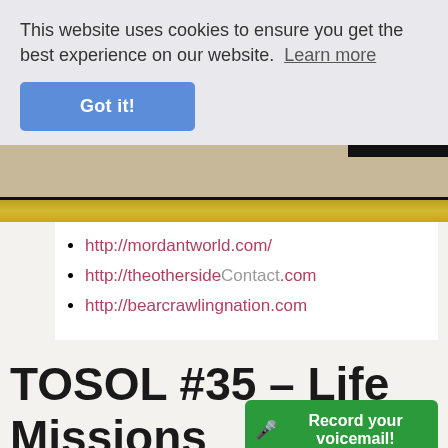This website uses cookies to ensure you get the best experience on our website. Learn more
Got it!
http://mordantworld.com/
http://theotherside[Contact].com
http://bearcrawlingnation.com
TOSOL #35 – Life Missions
🎤 Record your voicemail!